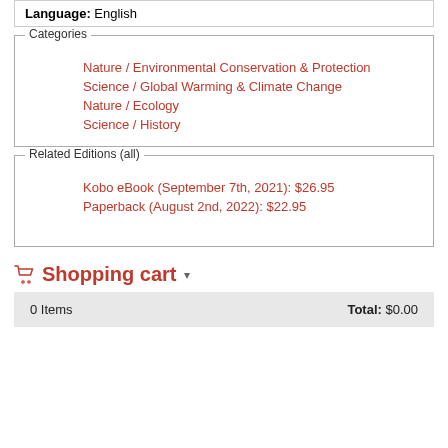Language: English
Categories
Nature / Environmental Conservation & Protection
Science / Global Warming & Climate Change
Nature / Ecology
Science / History
Related Editions (all)
Kobo eBook (September 7th, 2021): $26.95
Paperback (August 2nd, 2022): $22.95
Shopping cart
0 Items  Total: $0.00